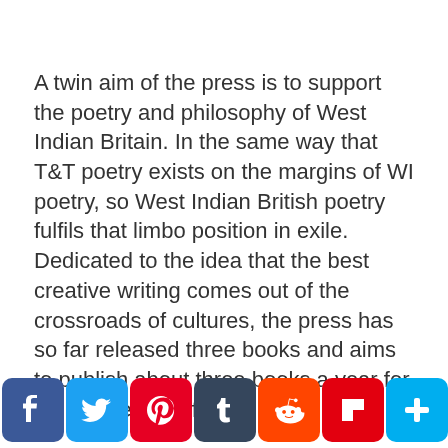A twin aim of the press is to support the poetry and philosophy of West Indian Britain. In the same way that T&T poetry exists on the margins of WI poetry, so West Indian British poetry fulfils that limbo position in exile. Dedicated to the idea that the best creative writing comes out of the crossroads of cultures, the press has so far released three books and aims to publish about three books a year for the foreseeable future.
Next on the agenda is that long awaited T&T anthology and the press is also working on the reprint of Cy Grant's Ring of Steel which celebrated the nation's contribution to C20 music. Both in their own way seek to celebrate the work of forgotten ancestors to prove a richer...